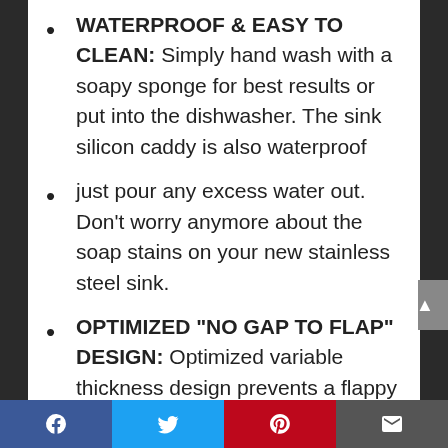WATERPROOF & EASY TO CLEAN: Simply hand wash with a soapy sponge for best results or put into the dishwasher. The sink silicon caddy is also waterproof
just pour any excess water out. Don't worry anymore about the soap stains on your new stainless steel sink.
OPTIMIZED “NO GAP TO FLAP” DESIGN: Optimized variable thickness design prevents a flappy fit on bumpy sink edge profiles without compromising the